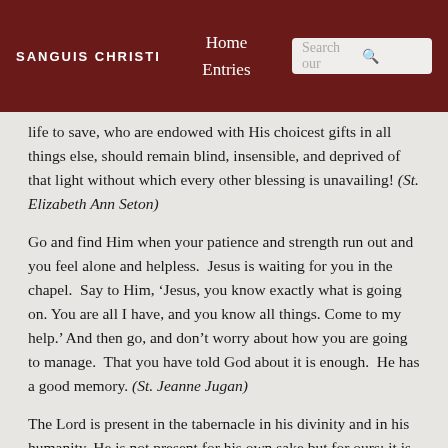SANGUIS CHRISTI | Home | Entries | Search our
life to save, who are endowed with His choicest gifts in all things else, should remain blind, insensible, and deprived of that light without which every other blessing is unavailing! (St. Elizabeth Ann Seton)
Go and find Him when your patience and strength run out and you feel alone and helpless.  Jesus is waiting for you in the chapel.  Say to Him, ‘Jesus, you know exactly what is going on. You are all I have, and you know all things. Come to my help.’ And then go, and don’t worry about how you are going to manage.  That you have told God about it is enough.  He has a good memory. (St. Jeanne Jugan)
The Lord is present in the tabernacle in his divinity and in his humanity. He is not present for his own sake but for ours: it is his delight to be with the ‘children of men.’ He knows, too, that, being what we are, we need his personal nearness. In